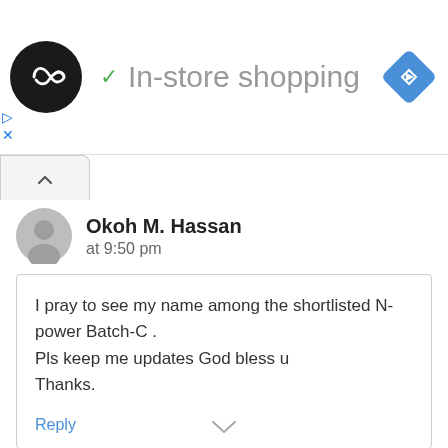[Figure (logo): Black circular logo with infinity-like double arrow symbol]
✓ In-store shopping
[Figure (logo): Blue diamond navigation arrow icon]
Okoh M. Hassan
at 9:50 pm
I pray to see my name among the shortlisted N-power Batch-C .
Pls keep me updates God bless u
Thanks.
Reply